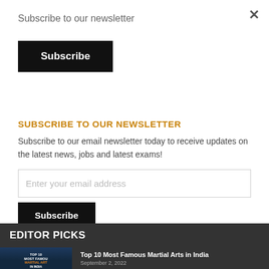Subscribe to our newsletter
Subscribe
SUBSCRIBE TO OUR NEWSLETTER
Subscribe to our email newsletter today to receive updates on the latest news, jobs and latest exams!
Enter your email address
Subscribe
EDITOR PICKS
[Figure (photo): Thumbnail image for Top 10 Most Famous Martial Arts in India article, dark blue background with text overlay]
Top 10 Most Famous Martial Arts in India
September 2, 2022